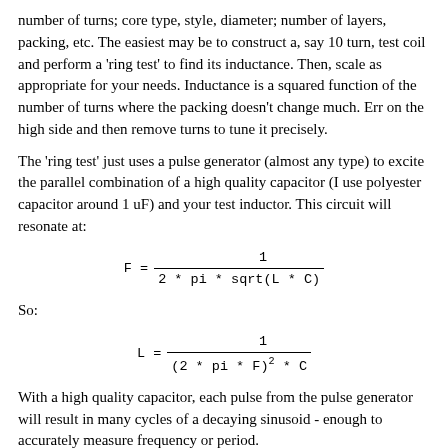number of turns; core type, style, diameter; number of layers, packing, etc. The easiest may be to construct a, say 10 turn, test coil and perform a 'ring test' to find its inductance. Then, scale as appropriate for your needs. Inductance is a squared function of the number of turns where the packing doesn't change much. Err on the high side and then remove turns to tune it precisely.
The 'ring test' just uses a pulse generator (almost any type) to excite the parallel combination of a high quality capacitor (I use polyester capacitor around 1 uF) and your test inductor. This circuit will resonate at:
So:
With a high quality capacitor, each pulse from the pulse generator will result in many cycles of a decaying sinusoid - enough to accurately measure frequency or period.
(From: Chip Shults (aichip@gdi.net).)